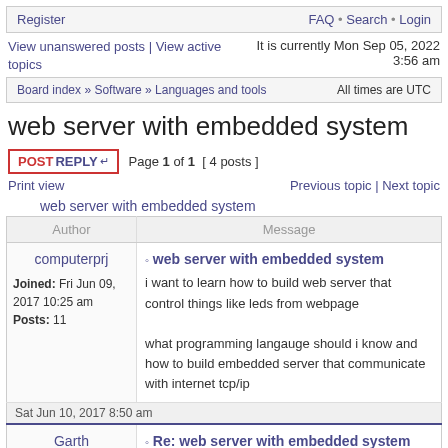Register   FAQ • Search • Login
View unanswered posts | View active topics   It is currently Mon Sep 05, 2022 3:56 am
Board index » Software » Languages and tools   All times are UTC
web server with embedded system
POST REPLY  Page 1 of 1  [ 4 posts ]
Print view   Previous topic | Next topic
web server with embedded system
| Author | Message |
| --- | --- |
| computerprj
Joined: Fri Jun 09, 2017 10:25 am
Posts: 11 | web server with embedded system
i want to learn how to build web server that control things like leds from webpage
what programming langauge should i know and how to build embedded server that communicate with internet tcp/ip |
| Sat Jun 10, 2017 8:50 am |  |
| Garth
Joined: Tue Dec 11, 2012 | Re: web server with embedded system
IoT might not be the kind of expertise you'll find on |